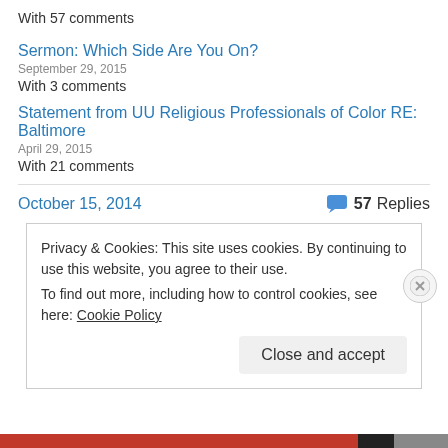With 57 comments
Sermon: Which Side Are You On?
September 29, 2015
With 3 comments
Statement from UU Religious Professionals of Color RE: Baltimore
April 29, 2015
With 21 comments
October 15, 2014
57 Replies
Privacy & Cookies: This site uses cookies. By continuing to use this website, you agree to their use.
To find out more, including how to control cookies, see here: Cookie Policy
Close and accept